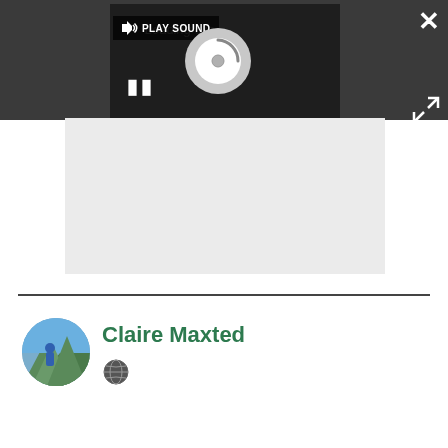[Figure (screenshot): Media player UI with dark background showing a loading spinner circle, play sound button with speaker icon, and pause button (two vertical bars). Close X button in top right corner and expand arrows button below it.]
[Figure (photo): Author profile photo of Claire Maxted - a person running outdoors on a green hillside, shown as a circular avatar]
Claire Maxted
[Figure (other): Globe/website icon]